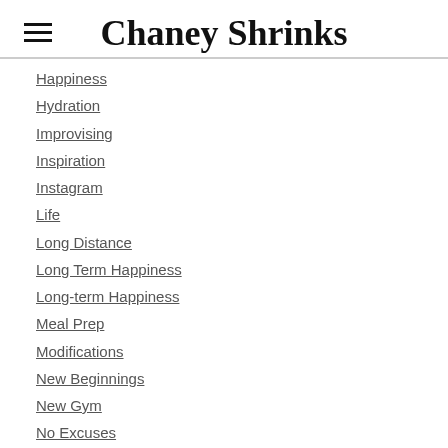Chaney Shrinks
Happiness
Hydration
Improvising
Inspiration
Instagram
Life
Long Distance
Long Term Happiness
Long-term Happiness
Meal Prep
Modifications
New Beginnings
New Gym
No Excuses
No Judgement
Nutritional Information
Old Gym
Orthodontist
Plaque